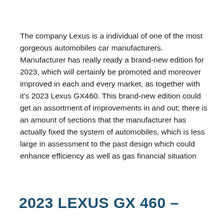The company Lexus is a individual of one of the most gorgeous automobiles car manufacturers. Manufacturer has really ready a brand-new edition for 2023, which will certainly be promoted and moreover improved in each and every market, as together with it's 2023 Lexus GX460. This brand-new edition could get an assortment of improvements in and out; there is an amount of sections that the manufacturer has actually fixed the system of automobiles, which is less large in assessment to the past design which could enhance efficiency as well as gas financial situation
2023 LEXUS GX 460 –